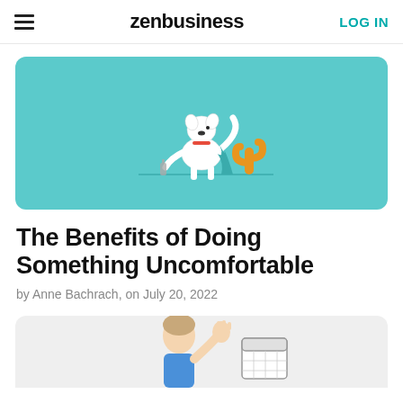zenbusiness | LOG IN
[Figure (illustration): Cartoon dog in teal/turquoise background with orange cactus plant illustration]
The Benefits of Doing Something Uncomfortable
by Anne Bachrach, on July 20, 2022
[Figure (illustration): Partial illustration showing a person with a calendar, grey background, partially visible at bottom of page]